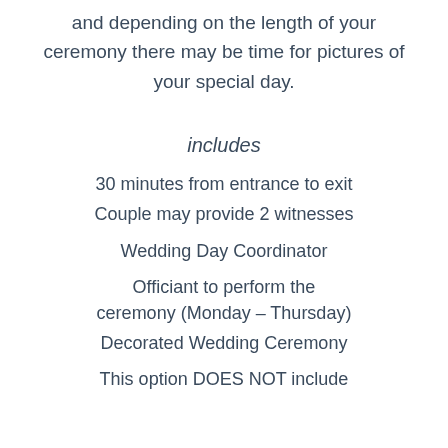and depending on the length of your ceremony there may be time for pictures of your special day.
includes
30 minutes from entrance to exit
Couple may provide 2 witnesses
Wedding Day Coordinator
Officiant to perform the ceremony (Monday – Thursday)
Decorated Wedding Ceremony
This option DOES NOT include